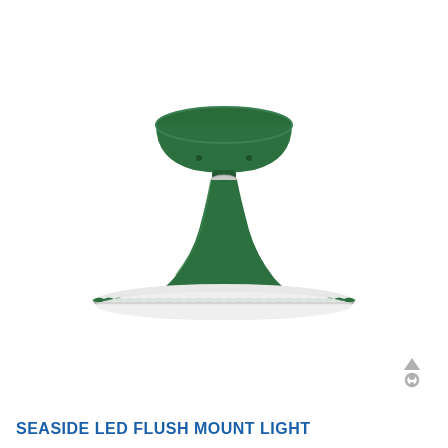[Figure (photo): A green Seaside LED flush mount ceiling light with a wide scalloped shade and rounded canopy, photographed against a white background. The light fixture is dark forest green with a chrome/white interior rim on the shade.]
[Figure (illustration): Small gray icon showing a person with an upward arrow above their head, likely a 'scroll to top' or user profile icon in the bottom-right corner.]
SEASIDE LED FLUSH MOUNT LIGHT